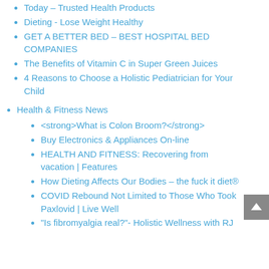Today – Trusted Health Products
Dieting - Lose Weight Healthy
GET A BETTER BED – BEST HOSPITAL BED COMPANIES
The Benefits of Vitamin C in Super Green Juices
4 Reasons to Choose a Holistic Pediatrician for Your Child
Health & Fitness News
<strong>What is Colon Broom?</strong>
Buy Electronics & Appliances On-line
HEALTH AND FITNESS: Recovering from vacation | Features
How Dieting Affects Our Bodies – the fuck it diet®
COVID Rebound Not Limited to Those Who Took Paxlovid | Live Well
"Is fibromyalgia real?"- Holistic Wellness with RJ